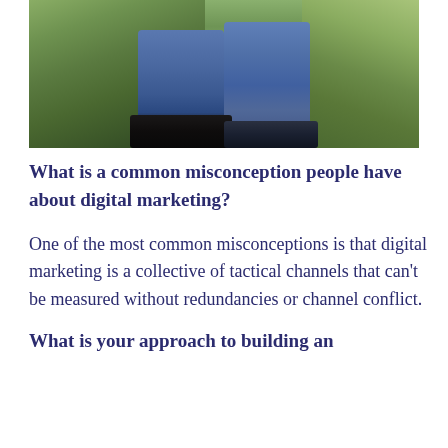[Figure (photo): Photo showing lower halves of two people standing outdoors on grassy ground, wearing jeans and boots/dark shoes.]
What is a common misconception people have about digital marketing?
One of the most common misconceptions is that digital marketing is a collective of tactical channels that can’t be measured without redundancies or channel conflict.
What is your approach to building an